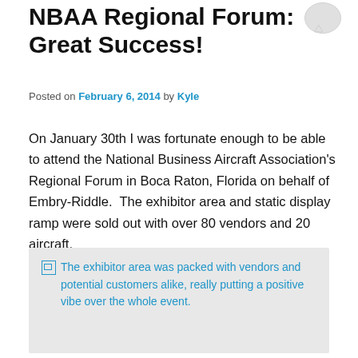NBAA Regional Forum: Great Success!
Posted on February 6, 2014 by Kyle
On January 30th I was fortunate enough to be able to attend the National Business Aircraft Association's Regional Forum in Boca Raton, Florida on behalf of Embry-Riddle.  The exhibitor area and static display ramp were sold out with over 80 vendors and 20 aircraft.
[Figure (photo): Broken image placeholder with alt text: The exhibitor area was packed with vendors and potential customers alike, really putting a positive vibe over the whole event.]